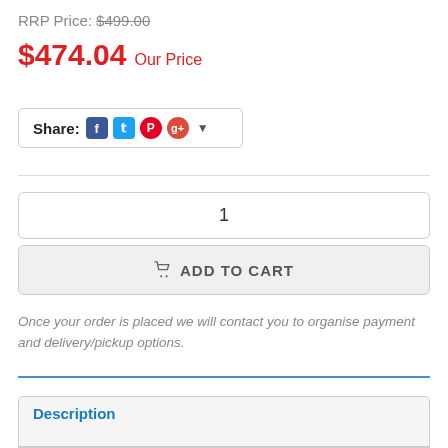RRP Price: $499.00
$474.04 Our Price
[Figure (other): Share bar with Facebook, Twitter, Pinterest, Google+ icons and dropdown arrow]
1
ADD TO CART
Once your order is placed we will contact you to organise payment and delivery/pickup options.
Description